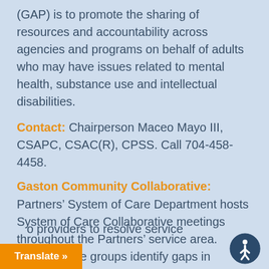(GAP) is to promote the sharing of resources and accountability across agencies and programs on behalf of adults who may have issues related to mental health, substance use and intellectual disabilities.
Contact: Chairperson Maceo Mayo III, CSAPC, CSAC(R), CPSS. Call 704-458-4458.
Gaston Community Collaborative:
Partners’ System of Care Department hosts System of Care Collaborative meetings throughout the Partners’ service area. Collaborative groups identify gaps in services, develop partnerships with agencies, promote resource development, offer technical [assistance to] providers to resolve service